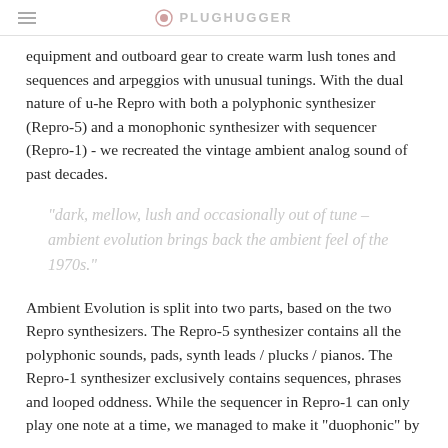PLUGHUGGER
equipment and outboard gear to create warm lush tones and sequences and arpeggios with unusual tunings. With the dual nature of u-he Repro with both a polyphonic synthesizer (Repro-5) and a monophonic synthesizer with sequencer (Repro-1) - we recreated the vintage ambient analog sound of past decades.
"dark, mellow, lush and occasionally out of tune – ambient evolution brings back the ambient feel of the 1970s."
Ambient Evolution is split into two parts, based on the two Repro synthesizers. The Repro-5 synthesizer contains all the polyphonic sounds, pads, synth leads / plucks / pianos. The Repro-1 synthesizer exclusively contains sequences, phrases and looped oddness. While the sequencer in Repro-1 can only play one note at a time, we managed to make it "duophonic" by